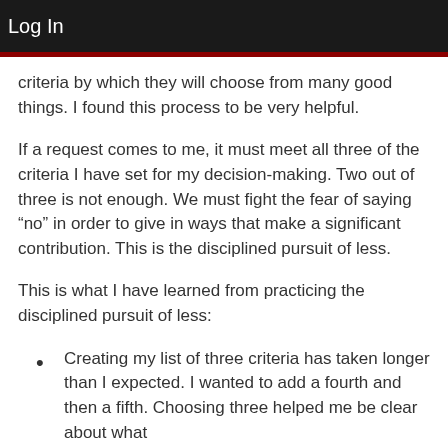Log In
criteria by which they will choose from many good things. I found this process to be very helpful.
If a request comes to me, it must meet all three of the criteria I have set for my decision-making. Two out of three is not enough. We must fight the fear of saying “no” in order to give in ways that make a significant contribution. This is the disciplined pursuit of less.
This is what I have learned from practicing the disciplined pursuit of less:
Creating my list of three criteria has taken longer than I expected. I wanted to add a fourth and then a fifth. Choosing three helped me be clear about what